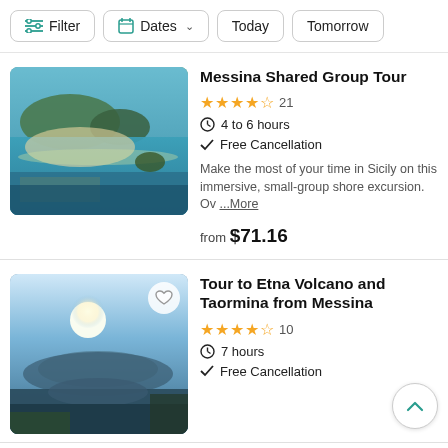Filter | Dates | Today | Tomorrow
[Figure (photo): Aerial view of a Mediterranean bay with turquoise water, rocky island, beach with umbrellas, and lush green vegetation in the foreground]
Messina Shared Group Tour
★★★★½ 21
4 to 6 hours
Free Cancellation
Make the most of your time in Sicily on this immersive, small-group shore excursion. Ov ...More
from $71.16
[Figure (photo): Scenic view of Mount Etna and coastline from Taormina with bright sun, blue sky, and tropical plants in foreground]
Tour to Etna Volcano and Taormina from Messina
★★★★½ 10
7 hours
Free Cancellation